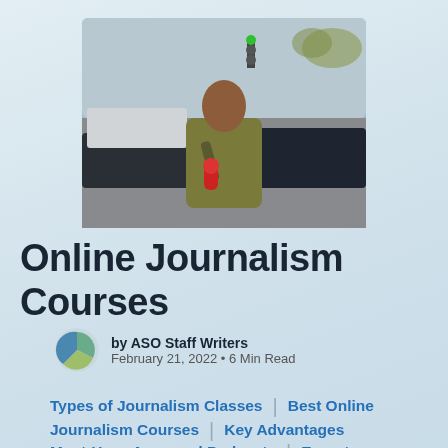[Figure (photo): A journalist standing outdoors on a city street holding a microphone with a red top, wearing a khaki jacket, with cars and traffic lights in the background.]
Online Journalism Courses
by ASO Staff Writers
February 21, 2022 • 6 Min Read
Types of Journalism Classes
Best Online Journalism Courses
Key Advantages
Must-Have Apps and Podcasts
Expert